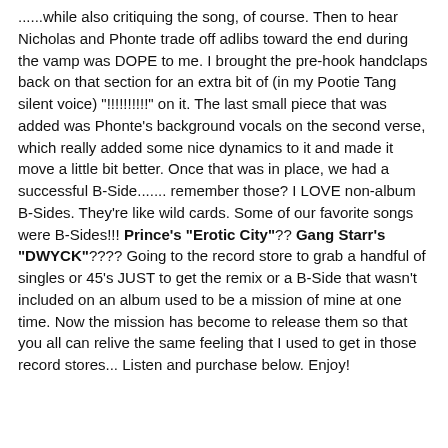......while also critiquing the song, of course. Then to hear Nicholas and Phonte trade off adlibs toward the end during the vamp was DOPE to me. I brought the pre-hook handclaps back on that section for an extra bit of (in my Pootie Tang silent voice) "!!!!!!!!!" on it. The last small piece that was added was Phonte's background vocals on the second verse, which really added some nice dynamics to it and made it move a little bit better. Once that was in place, we had a successful B-Side....... remember those? I LOVE non-album B-Sides. They're like wild cards. Some of our favorite songs were B-Sides!!! Prince's "Erotic City"?? Gang Starr's "DWYCK"???? Going to the record store to grab a handful of singles or 45's JUST to get the remix or a B-Side that wasn't included on an album used to be a mission of mine at one time. Now the mission has become to release them so that you all can relive the same feeling that I used to get in those record stores... Listen and purchase below. Enjoy!